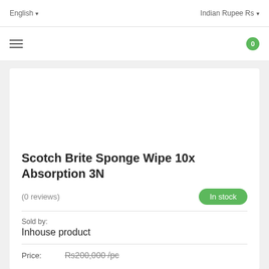English   Indian Rupee Rs
[Figure (screenshot): Navigation bar with hamburger menu icon on left and cart badge showing 0 on right]
Scotch Brite Sponge Wipe 10x Absorption 3N
(0 reviews)   In stock
Sold by:
Inhouse product
Price:   Rs200,000 /pc